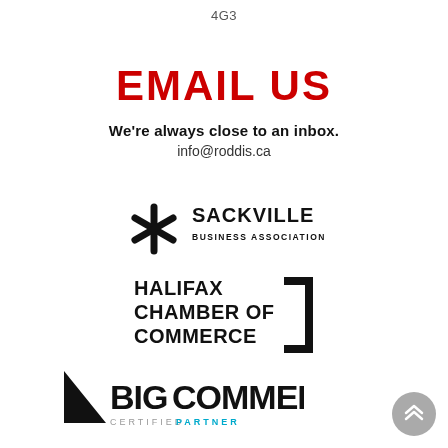4G3
EMAIL US
We're always close to an inbox.
info@roddis.ca
[Figure (logo): Sackville Business Association logo — asterisk icon on left, text SACKVILLE BUSINESS ASSOCIATION on right in bold black]
[Figure (logo): Halifax Chamber of Commerce logo — bold black stacked text HALIFAX CHAMBER OF COMMERCE with a large right-angle bracket on the right side]
[Figure (logo): BigCommerce Certified Partner logo — black triangle on left, BIGCOMMERCE in bold black, CERTIFIED PARTNER below in grey and cyan]
[Figure (other): Round grey scroll-up button with double up-chevron arrows in white]